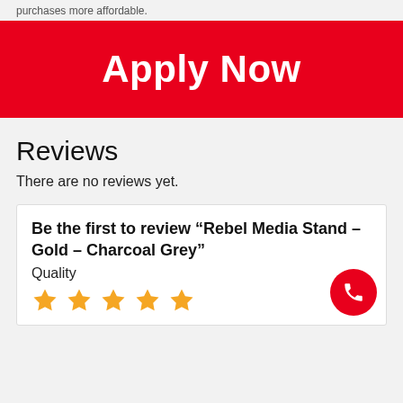purchases more affordable.
[Figure (other): Red 'Apply Now' button banner]
Reviews
There are no reviews yet.
Be the first to review “Rebel Media Stand – Gold – Charcoal Grey”
Quality
[Figure (other): Five gold star rating icons]
[Figure (other): Red circular phone call button]